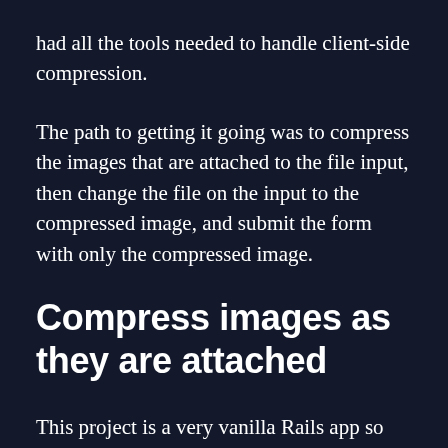had all the tools needed to handle client-side compression.
The path to getting it going was to compress the images that are attached to the file input, then change the file on the input to the compressed image, and submit the form with only the compressed image.
Compress images as they are attached
This project is a very vanilla Rails app so the stack